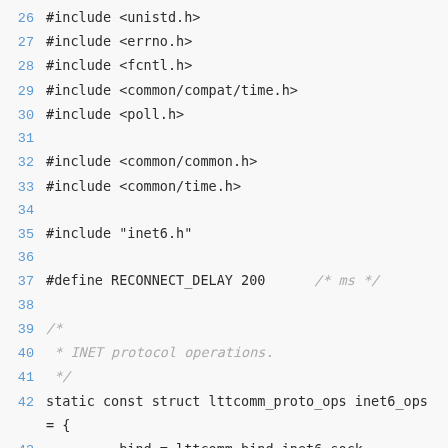[Figure (screenshot): Source code listing showing C include directives and a static const struct definition for lttcomm_proto_ops inet6_ops, with line numbers 26-49 visible. Lines include #include headers, a #define, a block comment, and struct member assignments for bind, close, connect, accept, listen, recvmsg, and sendmsg.]